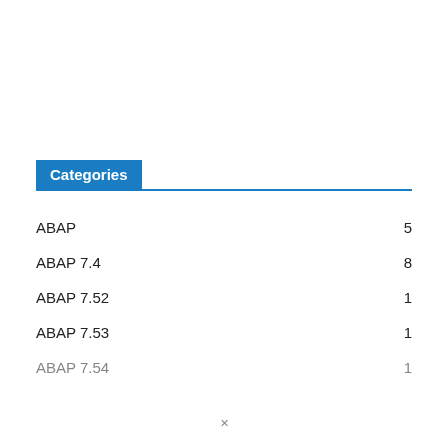Categories
ABAP 5
ABAP 7.4 8
ABAP 7.52 1
ABAP 7.53 1
ABAP 7.54 1